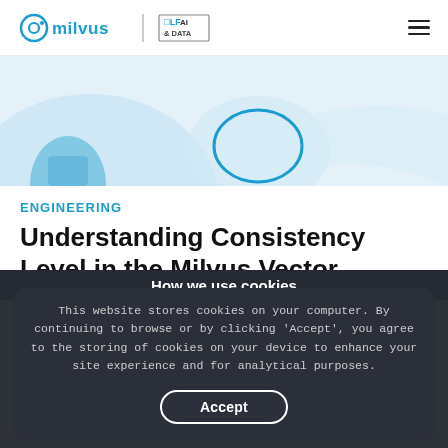milvus | LF AI & DATA
[Figure (illustration): Decorative hero image with light blue background, circular and abstract shapes suggesting a database or network concept]
ENGINEERING
Understanding Consistency Level in the Milvus Vector Database
Learn about the four levels of consistency - strong, bounded staleness, session, and eventual supported in the Milvus...
How we use cookies
This website stores cookies on your computer. By continuing to browse or by clicking 'Accept', you agree to the storing of cookies on your device to enhance your site experience and for analytical purposes.
Accept